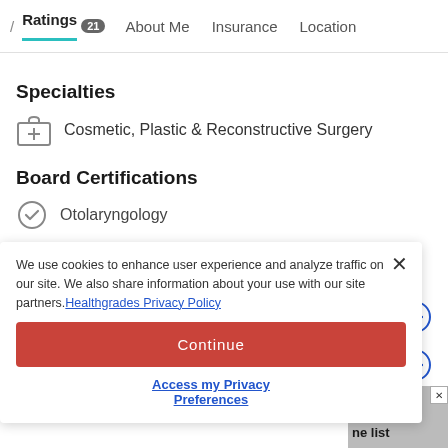/ Ratings 21  About Me  Insurance  Location
Specialties
Cosmetic, Plastic & Reconstructive Surgery
Board Certifications
Otolaryngology
Learn why a board certification matters
We use cookies to enhance user experience and analyze traffic on our site. We also share information about your use with our site partners. Healthgrades Privacy Policy
Continue
Access my Privacy Preferences